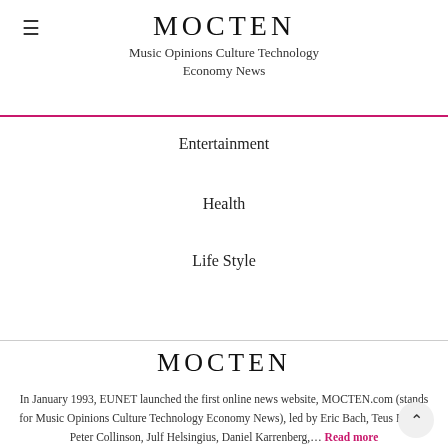MOCTEN
Music Opinions Culture Technology Economy News
Entertainment
Health
Life Style
MOCTEN
In January 1993, EUNET launched the first online news website, MOCTEN.com (stands for Music Opinions Culture Technology Economy News), led by Eric Bach, Teus Hagen, Peter Collinson, Julf Helsingius, Daniel Karrenberg,… Read more